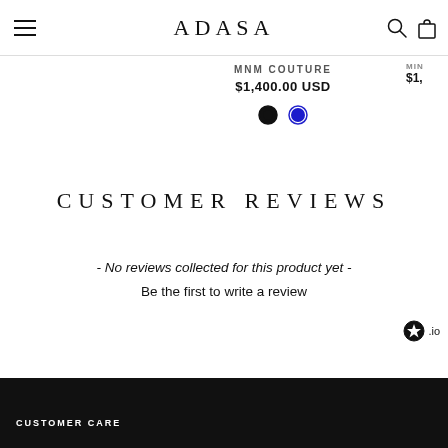ADASA
MNM COUTURE
$1,400.00 USD
CUSTOMER REVIEWS
- No reviews collected for this product yet -
Be the first to write a review
CUSTOMER CARE